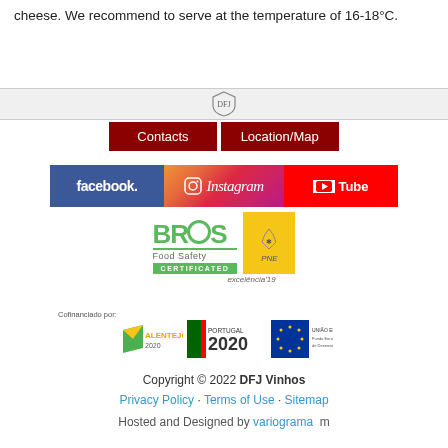cheese. We recommend to serve at the temperature of 16-18°C.
[Figure (logo): DFJ Vinhos shield logo in center of divider bar]
[Figure (infographic): Navigation buttons: Contacts and Location/Map in dark red]
[Figure (logo): Social media logos: Facebook, Instagram, YouTube]
[Figure (logo): BRCGS Food Safety Certified and PME excelência'19 logos]
[Figure (logo): Cofinanciado por: Alentejo 2020, Portugal 2020, EU Regional Development Fund logos]
Copyright © 2022 DFJ Vinhos
Privacy Policy · Terms of Use · Sitemap
Hosted and Designed by variograma  m